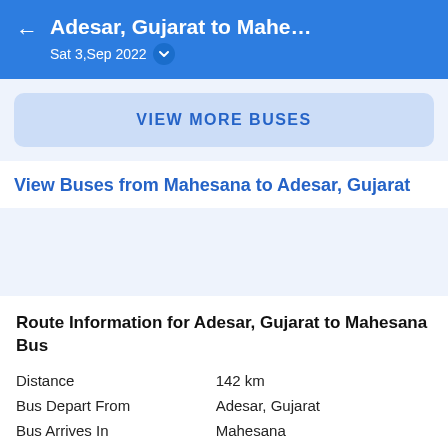Adesar, Gujarat to Mahe… Sat 3,Sep 2022
VIEW MORE BUSES
View Buses from Mahesana to Adesar, Gujarat
Route Information for Adesar, Gujarat to Mahesana Bus
|  |  |
| --- | --- |
| Distance | 142 km |
| Bus Depart From | Adesar, Gujarat |
| Bus Arrives In | Mahesana |
| Earliest Bus | 06:45 |
| Last Bus | 23:15 |